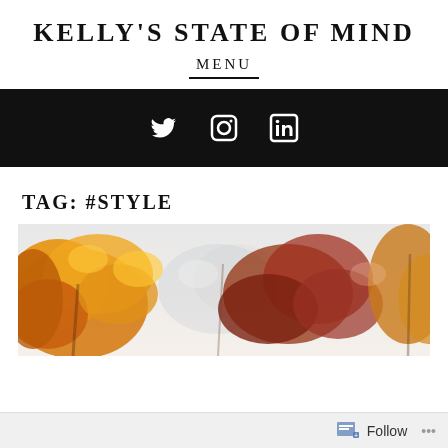KELLY'S STATE OF MIND
MENU
[Figure (infographic): Black social media bar with Twitter, Instagram, and LinkedIn icons in white]
TAG: #STYLE
[Figure (photo): Autumn trees with orange and reddish-brown fall foliage against a light sky, viewed from below]
Follow ...